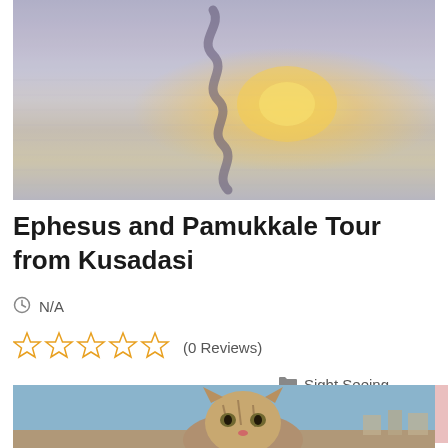[Figure (photo): Sunset over water with a winding path or shadow reflection on the water surface, purple-golden tones]
Ephesus and Pamukkale Tour from Kusadasi
N/A
☆☆☆☆☆ (0 Reviews)
Sight Seeing
[Figure (photo): A cat at an archaeological site with ruins and blue sky in the background]